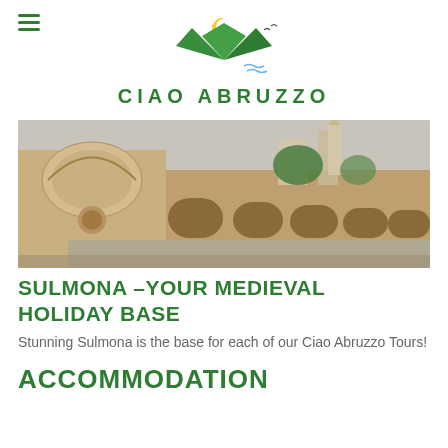[Figure (logo): Ciao Abruzzo logo with mountain silhouette, crescent moon, birds, and waves in green and yellow, with text CIAO ABRUZZO in green capital letters below]
[Figure (photo): Photo of Sulmona medieval stone aqueduct/fountain with arches, decorative carved stonework in foreground, church tower and buildings visible in background]
SULMONA –YOUR MEDIEVAL HOLIDAY BASE
Stunning Sulmona is the base for each of our Ciao Abruzzo Tours!
ACCOMMODATION